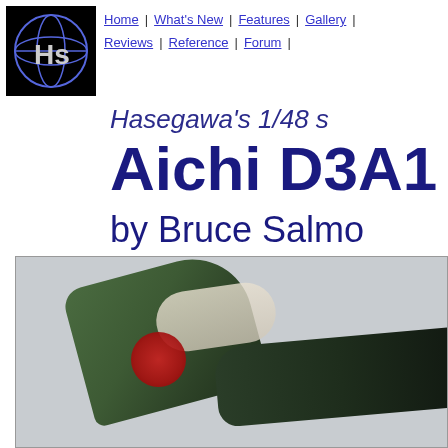[Figure (logo): HyperScale website logo: blue globe with 'Hs' text on black background]
Home | What's New | Features | Gallery | Reviews | Reference | Forum |
Hasegawa's 1/48 scale Aichi D3A1 Val
by Bruce Salmon
[Figure (photo): Blurred close-up photo of a scale model of the Aichi D3A1 Val aircraft, showing green upper surfaces with Japanese red roundel marking on the tail section, against a light grey background]